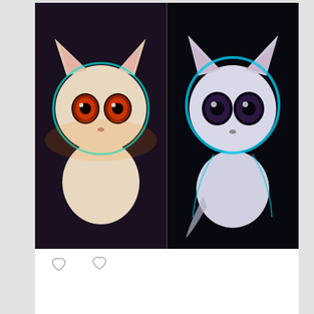[Figure (illustration): Two AI-generated white cats with large dark eyes and glowing teal outlines against a dark background. Left cat has orange/amber eyes with warm candle lighting; right cat is more stylized with dark eyes and cooler blue-teal glow.]
Comment and like icons (reaction buttons)
Anna Lorentz... @cyberser... · Aug 2  After checking out @midjourney i suppose my painting days are over. So just started to write my own AI. I call her Tindra. Knew i had
This website uses cookies to ensure you get the best experience. Learn more about it.
ACCEPTED